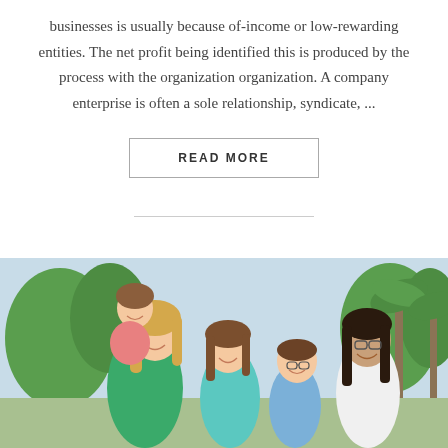businesses is usually because of-income or low-rewarding entities. The net profit being identified this is produced by the process with the organization organization. A company enterprise is often a sole relationship, syndicate, ...
READ MORE
[Figure (photo): A group of smiling people including children and adults outdoors with palm trees in the background. A woman in green carries a girl on her back, alongside a teenage girl in teal, a boy, and a teenage girl with glasses in white.]